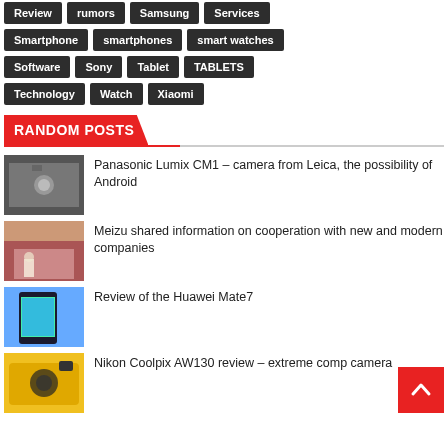Review
rumors
Samsung
Services
Smartphone
smartphones
smart watches
Software
Sony
Tablet
TABLETS
Technology
Watch
Xiaomi
RANDOM POSTS
Panasonic Lumix CM1 – camera from Leica, the possibility of Android
Meizu shared information on cooperation with new and modern companies
Review of the Huawei Mate7
Nikon Coolpix AW130 review – extreme comp camera